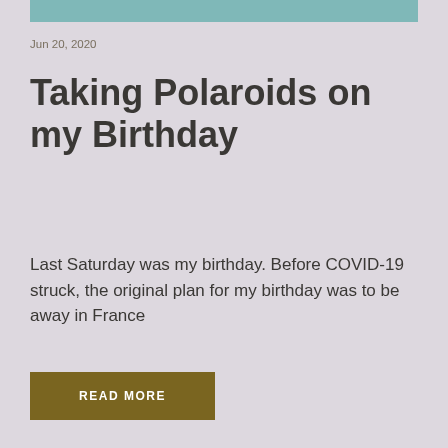[Figure (other): Teal/seafoam colored decorative bar at top of page]
Jun 20, 2020
Taking Polaroids on my Birthday
Last Saturday was my birthday. Before COVID-19 struck, the original plan for my birthday was to be away in France
READ MORE